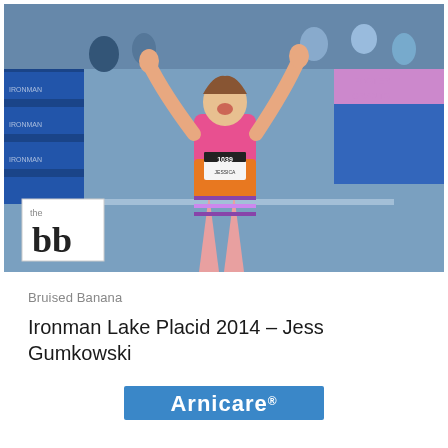[Figure (photo): Athlete crossing finish line at Ironman Lake Placid 2014, arms raised in victory, wearing race bib number 1039, pink and orange triathlon suit. Crowd and blue barriers visible in background. The Bruised Banana logo (the bb) is overlaid in lower left corner of photo.]
Bruised Banana
Ironman Lake Placid 2014 – Jess Gumkowski
[Figure (logo): Arnicare logo — blue rectangle with white Arnicare text and registered trademark symbol]